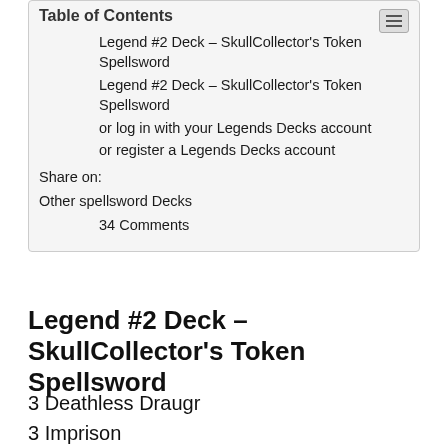Table of Contents
Legend #2 Deck – SkullCollector's Token Spellsword
Legend #2 Deck – SkullCollector's Token Spellsword
or log in with your Legends Decks account
or register a Legends Decks account
Share on:
Other spellsword Decks
34 Comments
Legend #2 Deck – SkullCollector's Token Spellsword
3 Deathless Draugr
3 Imprison
3 Scouting Patrol
3 Bruma Profiteer